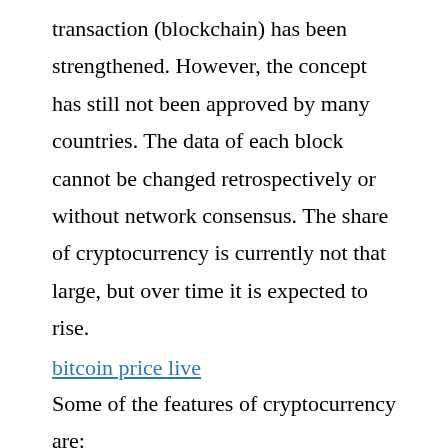transaction (blockchain) has been strengthened. However, the concept has still not been approved by many countries. The data of each block cannot be changed retrospectively or without network consensus. The share of cryptocurrency is currently not that large, but over time it is expected to rise.
bitcoin price live
Some of the features of cryptocurrency are:
Decentralized